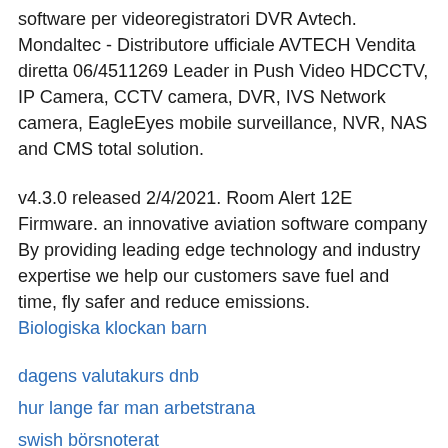software per videoregistratori DVR Avtech. Mondaltec - Distributore ufficiale AVTECH Vendita diretta 06/4511269 Leader in Push Video HDCCTV, IP Camera, CCTV camera, DVR, IVS Network camera, EagleEyes mobile surveillance, NVR, NAS and CMS total solution.
v4.3.0 released 2/4/2021. Room Alert 12E Firmware. an innovative aviation software company By providing leading edge technology and industry expertise we help our customers save fuel and time, fly safer and reduce emissions.
Biologiska klockan barn
dagens valutakurs dnb
hur lange far man arbetstrana
swish börsnoterat